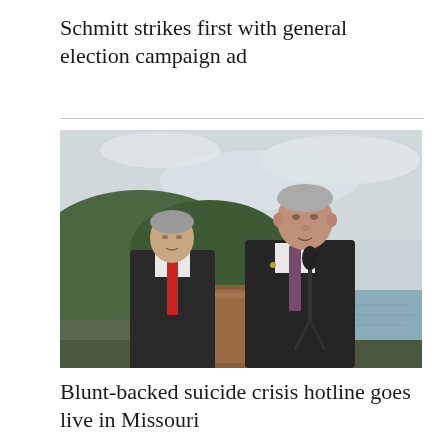Schmitt strikes first with general election campaign ad
[Figure (photo): Two men in dark suits at an outdoor podium. The man on the right speaks at a microphone at a wooden lectern; the man on the left stands behind him. Green tree-covered hills and a body of water visible in the background.]
Blunt-backed suicide crisis hotline goes live in Missouri